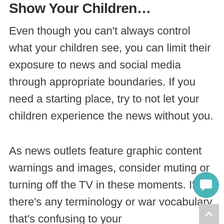Show Your Children
Even though you can’t always control what your children see, you can limit their exposure to news and social media through appropriate boundaries. If you need a starting place, try to not let your children experience the news without you.
As news outlets feature graphic content warnings and images, consider muting or turning off the TV in these moments. If there’s any terminology or war vocabulary that’s confusing to your